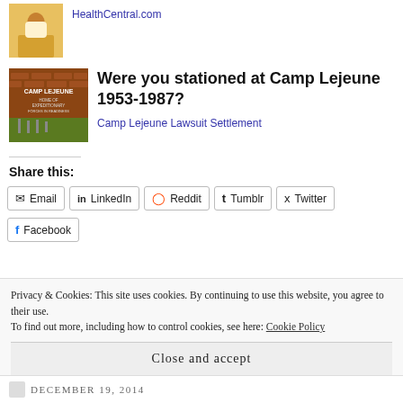[Figure (photo): Person in yellow sweater, partial view]
HealthCentral.com
[Figure (photo): Camp Lejeune sign on brick wall with text 'HOME OF EXPEDITIONARY FORCES IN READINESS']
Were you stationed at Camp Lejeune 1953-1987?
Camp Lejeune Lawsuit Settlement
Share this:
Email
LinkedIn
Reddit
Tumblr
Twitter
Facebook
Privacy & Cookies: This site uses cookies. By continuing to use this website, you agree to their use.
To find out more, including how to control cookies, see here: Cookie Policy
Close and accept
DECEMBER 19, 2014